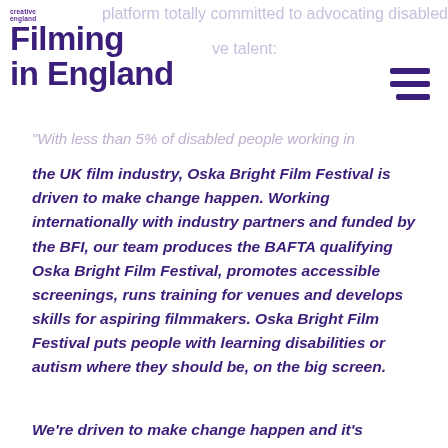creative england / Filming in England
platform totally committed to advocating disabled
ve talent:
"With less than 5% of disabled people working in the UK film industry, Oska Bright Film Festival is driven to make change happen. Working internationally with industry partners and funded by the BFI, our team produces the BAFTA qualifying Oska Bright Film Festival, promotes accessible screenings, runs training for venues and develops skills for aspiring filmmakers. Oska Bright Film Festival puts people with learning disabilities or autism where they should be, on the big screen.
We’re driven to make change happen and it’s